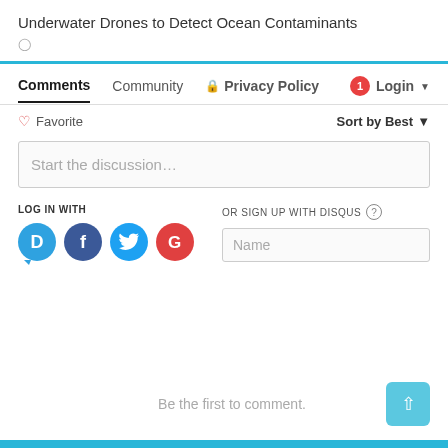Underwater Drones to Detect Ocean Contaminants
Comments  Community  Privacy Policy  Login
Favorite  Sort by Best
Start the discussion…
LOG IN WITH
OR SIGN UP WITH DISQUS
Be the first to comment.